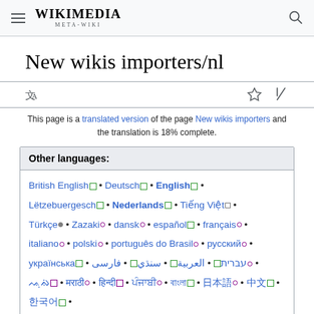WIKIMEDIA META-WIKI
New wikis importers/nl
This page is a translated version of the page New wikis importers and the translation is 18% complete.
| Other languages: |
| --- |
| British English • Deutsch • English • Lëtzebuergesch • Nederlands • Tiếng Việt • Türkçe • Zazaki • dansk • español • français • italiano • polski • português do Brasil • русский • українська • עברית • العربية • سنڌي • فارسی • ᨕᨘᨁᨗ • मराठी • हिन्दी • ਪੰਜਾਬੀ • বাংলা • 日本語 • 中文 • 한국어 • پښتو |